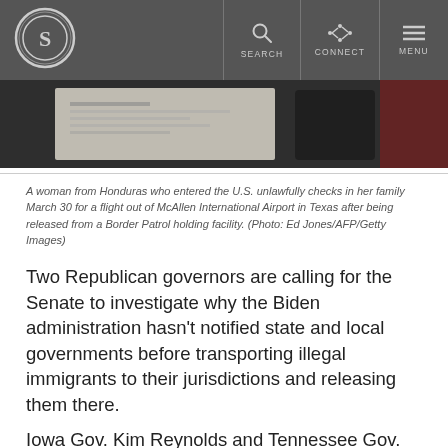S | SEARCH | CONNECT | MENU
[Figure (photo): Partial photo showing a woman at an airport check-in area with a document/form visible, dark background]
A woman from Honduras who entered the U.S. unlawfully checks in her family March 30 for a flight out of McAllen International Airport in Texas after being released from a Border Patrol holding facility. (Photo: Ed Jones/AFP/Getty Images)
Two Republican governors are calling for the Senate to investigate why the Biden administration hasn't notified state and local governments before transporting illegal immigrants to their jurisdictions and releasing them there.
Iowa Gov. Kim Reynolds and Tennessee Gov. Bill Lee